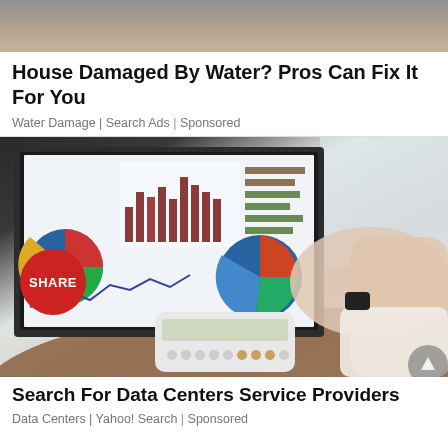[Figure (photo): Top portion of a water-damaged ceiling or wall, cropped at the top of the page]
House Damaged By Water? Pros Can Fix It For You
Water Damage | Search Ads | Sponsored
[Figure (photo): Person using a laptop displaying financial charts (bar chart, pie charts, line chart) with a calculator in the foreground; a red circular SHARE button overlay is visible on the left]
Search For Data Centers Service Providers
Data Centers | Yahoo! Search | Sponsored